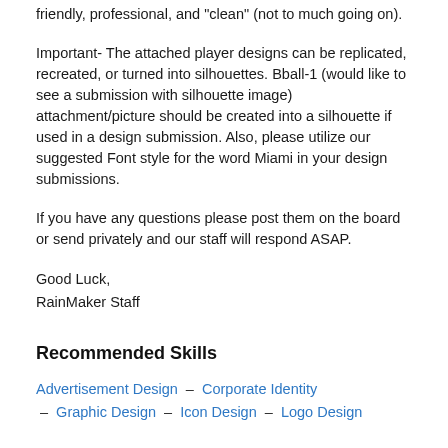friendly, professional, and "clean" (not to much going on).
Important- The attached player designs can be replicated, recreated, or turned into silhouettes. Bball-1 (would like to see a submission with silhouette image) attachment/picture should be created into a silhouette if used in a design submission. Also, please utilize our suggested Font style for the word Miami in your design submissions.
If you have any questions please post them on the board or send privately and our staff will respond ASAP.
Good Luck,
RainMaker Staff
Recommended Skills
Advertisement Design – Corporate Identity
– Graphic Design – Icon Design – Logo Design